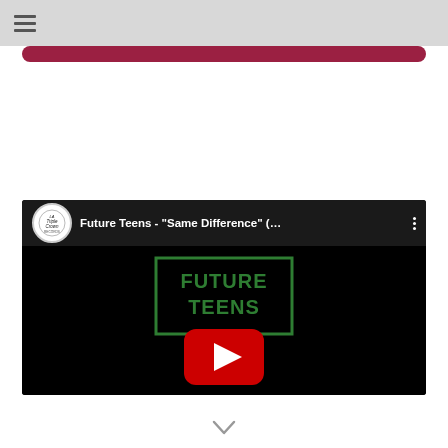☰ (hamburger menu icon)
[Figure (screenshot): YouTube video embed showing Future Teens - 'Same Difference' (... with LA Triple Crown Records channel logo, Future Teens logo in green on black background, and YouTube play button]
[Figure (other): Downward chevron arrow at bottom of page]